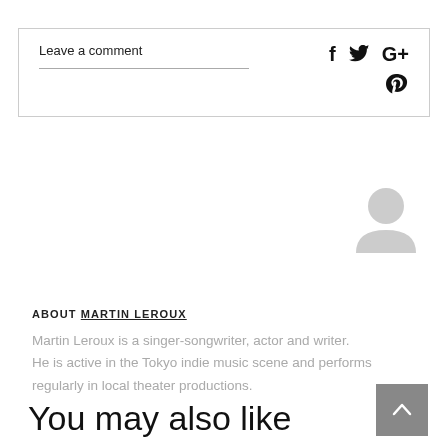Leave a comment
[Figure (infographic): Social media share icons: Facebook (f), Twitter (bird), Google+ (G+), Pinterest (P circle)]
[Figure (illustration): Gray circular user avatar icon]
ABOUT MARTIN LEROUX
Martin Leroux is a singer-songwriter, actor and writer. He is active in the Tokyo indie music scene and performs regularly in local theater productions.
You may also like